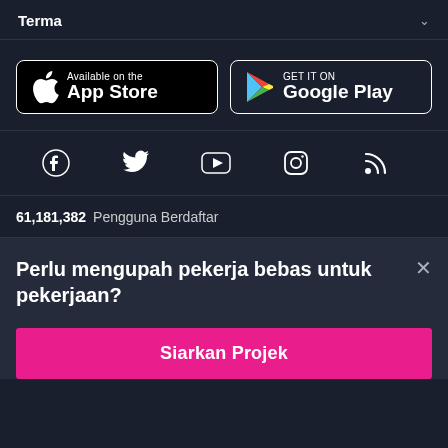Terma
[Figure (logo): Available on the App Store button]
[Figure (logo): GET IT ON Google Play button]
[Figure (illustration): Social media icons: Facebook, Twitter, YouTube, Instagram, RSS]
61,181,382 Pengguna Berdaftar
Perlu mengupah pekerja bebas untuk pekerjaan?
Siarkan Projek